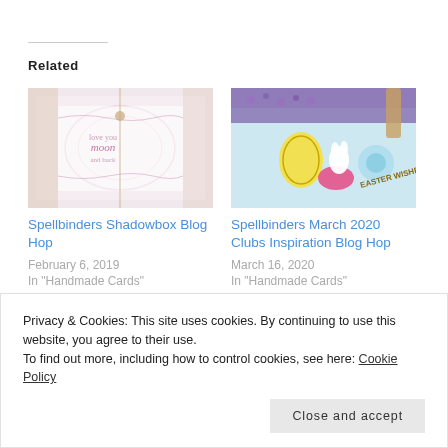Related
[Figure (photo): Pink handmade card with decorative lace die-cut border and moon sentiment, tied with twine]
Spellbinders Shadowbox Blog Hop
February 6, 2019
In "Handmade Cards"
[Figure (photo): Easter-themed handmade card with colorful eggs, bunny, flowers and 'Easter Wishes' text on light blue background]
Spellbinders March 2020 Clubs Inspiration Blog Hop
March 16, 2020
In "Handmade Cards"
[Figure (photo): Partial view of a card with teal/aqua background and golden floral die-cut design]
August 1, 2022
Privacy & Cookies: This site uses cookies. By continuing to use this website, you agree to their use.
To find out more, including how to control cookies, see here: Cookie Policy
Close and accept